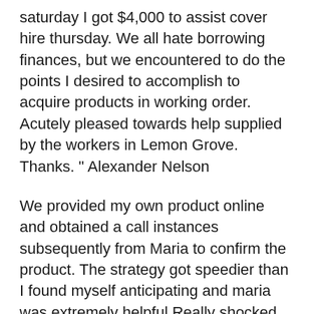saturday I got $4,000 to assist cover hire thursday. We all hate borrowing finances, but we encountered to do the points I desired to accomplish to acquire products in working order. Acutely pleased towards help supplied by the workers in Lemon Grove. Thanks. " Alexander Nelson
We provided my own product online and obtained a call instances subsequently from Maria to confirm the product. The strategy got speedier than I found myself anticipating and maria was extremely helpful.Really shocked with this customer care from subject bank! " Gloria Melendez
Usa Label Lending "
Loanmart Lemon